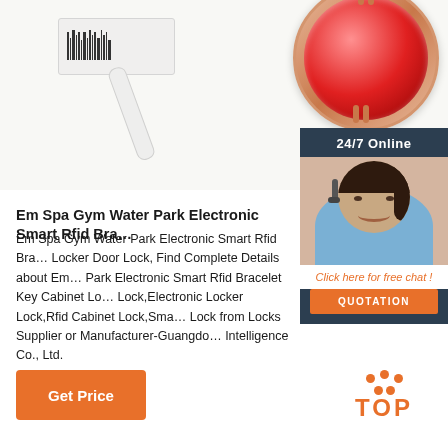[Figure (photo): Product photo showing a white jewelry price tag/label and a rose gold pendant with red gemstone on white background]
[Figure (infographic): 24/7 Online chat widget with female agent wearing headset, 'Click here for free chat!' text and orange QUOTATION button]
Em Spa Gym Water Park Electronic Smart Rfid Bra…
Em Spa Gym Water Park Electronic Smart Rfid Bra… Locker Door Lock, Find Complete Details about Em… Park Electronic Smart Rfid Bracelet Key Cabinet Lo… Lock,Electronic Locker Lock,Rfid Cabinet Lock,Sma… Lock from Locks Supplier or Manufacturer-Guangdo… Intelligence Co., Ltd.
Get Price
[Figure (illustration): Orange TOP icon with dots above the letters]